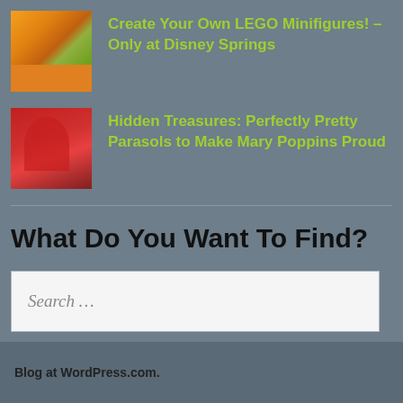[Figure (photo): Thumbnail image of LEGO display with colorful bricks and yellow/orange tones]
Create Your Own LEGO Minifigures! – Only at Disney Springs
[Figure (photo): Thumbnail image of red parasol or umbrella outdoors]
Hidden Treasures: Perfectly Pretty Parasols to Make Mary Poppins Proud
What Do You Want To Find?
Search …
Blog at WordPress.com.